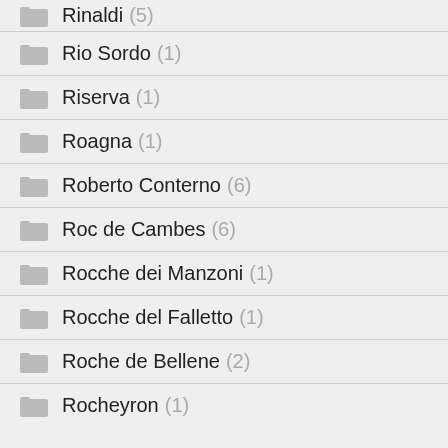Rinaldi (5)
Rio Sordo (1)
Riserva (1)
Roagna (1)
Roberto Conterno (6)
Roc de Cambes (6)
Rocche dei Manzoni (1)
Rocche del Falletto (1)
Roche de Bellene (2)
Rocheyron (1)